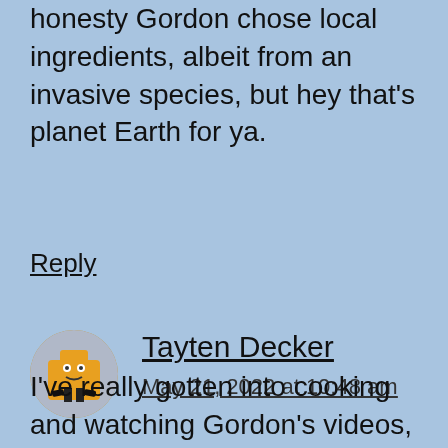honesty Gordon chose local ingredients, albeit from an invasive species, but hey that's planet Earth for ya.
Reply
Tayten Decker
May 21, 2022 at 10:48 am
I've really gotten into cooking and watching Gordon's videos, I must say this man is such a sweetheart. I really do take inspiration to start cooking and explore the true beauty of what